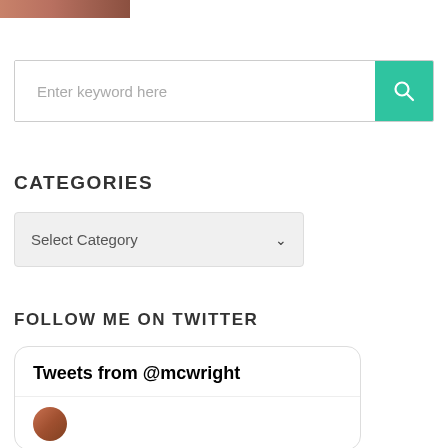[Figure (photo): Partial image visible at top left corner of the page, appears to be a person or portrait photo cropped]
Enter keyword here
CATEGORIES
Select Category
FOLLOW ME ON TWITTER
Tweets from @mcwright